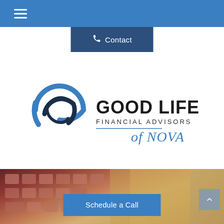Navigation menu header bar with hamburger icon
Contact
[Figure (logo): Good Life Financial Advisors of NOVA logo — circular swoosh icon in blue and dark navy on the left, text 'GOOD LIFE' in large bold letters, 'FINANCIAL ADVISORS' in spaced capitals below, and 'of NOVA' in blue italic script to the right with a horizontal rule separator]
[Figure (photo): Background photo of a laptop keyboard with wooden surface, partially visible at the bottom of the page]
Schedule a Call